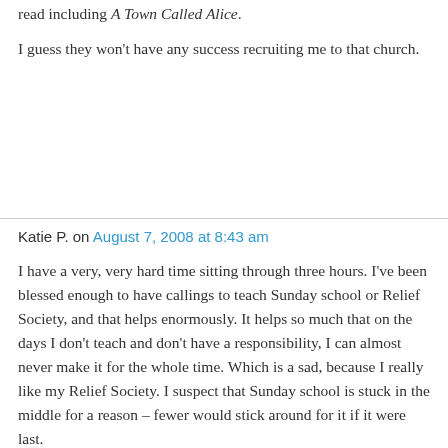read including A Town Called Alice.
I guess they won't have any success recruiting me to that church.
Katie P. on August 7, 2008 at 8:43 am
I have a very, very hard time sitting through three hours. I've been blessed enough to have callings to teach Sunday school or Relief Society, and that helps enormously. It helps so much that on the days I don't teach and don't have a responsibility, I can almost never make it for the whole time. Which is a sad, because I really like my Relief Society. I suspect that Sunday school is stuck in the middle for a reason – fewer would stick around for it if it were last.